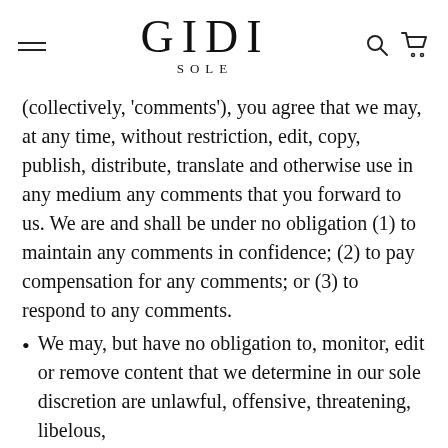GIDI SOLE
(collectively, 'comments'), you agree that we may, at any time, without restriction, edit, copy, publish, distribute, translate and otherwise use in any medium any comments that you forward to us. We are and shall be under no obligation (1) to maintain any comments in confidence; (2) to pay compensation for any comments; or (3) to respond to any comments.
We may, but have no obligation to, monitor, edit or remove content that we determine in our sole discretion are unlawful, offensive, threatening, libelous,